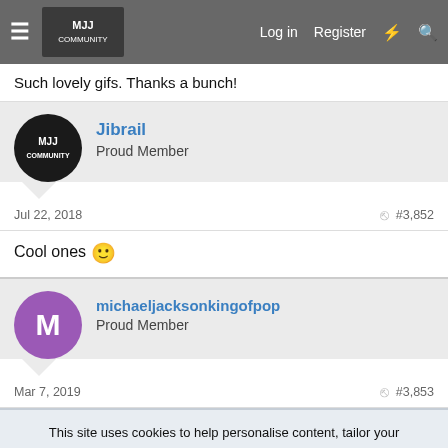MJJ Community — Log in  Register
Such lovely gifs. Thanks a bunch!
Jibrail
Proud Member
Jul 22, 2018  #3,852
Cool ones 🙂
michaeljacksonkingofpop
Proud Member
Mar 7, 2019  #3,853
This site uses cookies to help personalise content, tailor your experience and to keep you logged in if you register.
By continuing to use this site, you are consenting to our use of cookies.